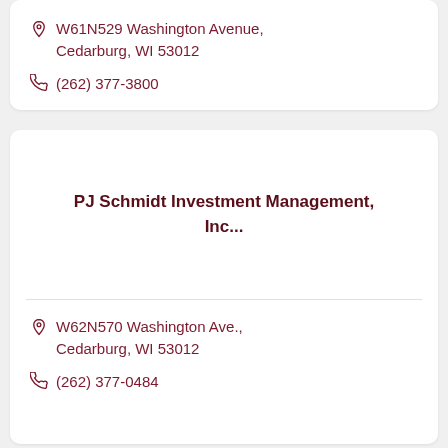W61N529 Washington Avenue, Cedarburg, WI 53012
(262) 377-3800
PJ Schmidt Investment Management, Inc...
W62N570 Washington Ave., Cedarburg, WI 53012
(262) 377-0484